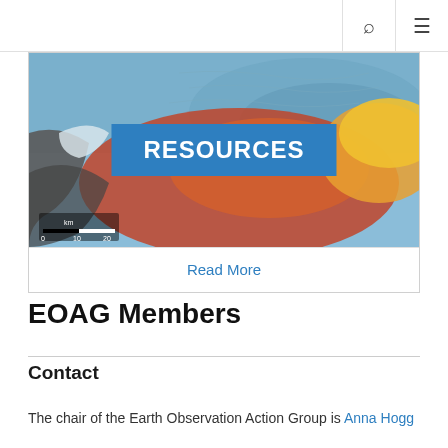🔍 ☰
[Figure (map): Aerial/satellite map image showing terrain with blue ocean, colorful elevation data (red, yellow, orange tones) used as background for a RESOURCES header card. A scale bar showing 0, 10, 20 km is visible at the bottom-left.]
Read More
EOAG Members
Contact
The chair of the Earth Observation Action Group is Anna Hogg